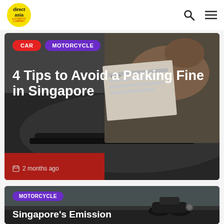[Figure (logo): Direct Asia logo — yellow circle with 'direct asia' text and 'a HISCOX COMPANY' subtitle]
[Figure (photo): Background photo of a parking violation ticket being placed on a car dashboard]
CAR
MOTORCYCLE
4 Tips to Avoid a Parking Fine in Singapore
2 months ago
[Figure (photo): Background photo of a motorcycle on a road]
MOTORCYCLE
Singapore's Emission Standards: What You...